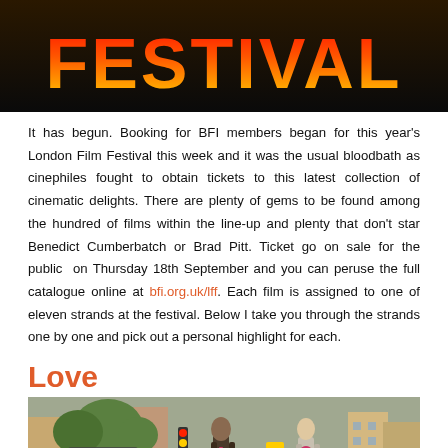[Figure (photo): Festival banner image with bold text 'FESTIVAL' in red-orange-yellow gradient on dark background]
It has begun. Booking for BFI members began for this year's London Film Festival this week and it was the usual bloodbath as cinephiles fought to obtain tickets to this latest collection of cinematic delights. There are plenty of gems to be found among the hundred of films within the line-up and plenty that don't star Benedict Cumberbatch or Brad Pitt. Ticket go on sale for the public on Thursday 18th September and you can peruse the full catalogue online at bfi.org.uk/lff. Each film is assigned to one of eleven strands at the festival. Below I take you through the strands one by one and pick out a personal highlight for each.
Love
[Figure (photo): Street scene with two men in suits walking on a city sidewalk, one in a dark suit and one in a light gray suit, with urban buildings and traffic signs in background]